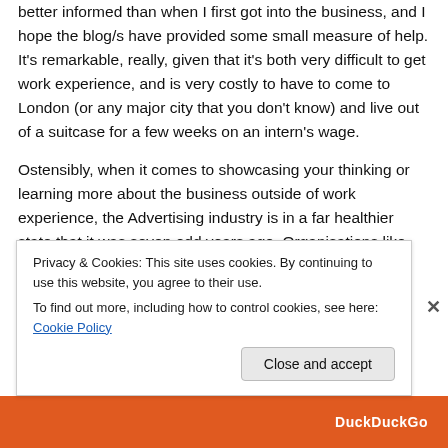better informed than when I first got into the business, and I hope the blog/s have provided some small measure of help. It's remarkable, really, given that it's both very difficult to get work experience, and is very costly to have to come to London (or any major city that you don't know) and live out of a suitcase for a few weeks on an intern's wage.
Ostensibly, when it comes to showcasing your thinking or learning more about the business outside of work experience, the Advertising industry is in a far healthier state that it was seven odd years ago. Organisations like
Privacy & Cookies: This site uses cookies. By continuing to use this website, you agree to their use.
To find out more, including how to control cookies, see here: Cookie Policy